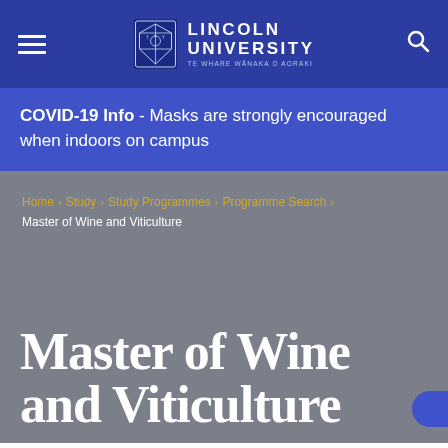Lincoln University - Te Whare Wānaka o Aoraki
COVID-19 Info - Masks are strongly encouraged when indoors on campus
Home › Study › Study Programmes › Programme Search › Master of Wine and Viticulture
Master of Wine and Viticulture